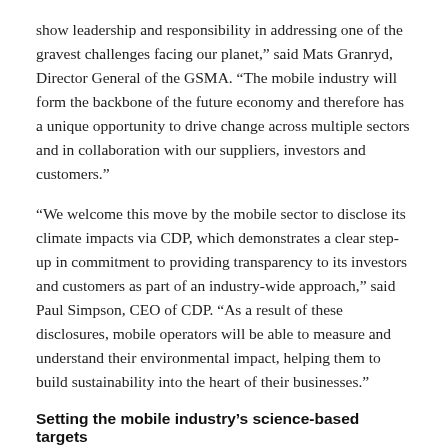show leadership and responsibility in addressing one of the gravest challenges facing our planet,” said Mats Granryd, Director General of the GSMA. “The mobile industry will form the backbone of the future economy and therefore has a unique opportunity to drive change across multiple sectors and in collaboration with our suppliers, investors and customers.”
“We welcome this move by the mobile sector to disclose its climate impacts via CDP, which demonstrates a clear step-up in commitment to providing transparency to its investors and customers as part of an industry-wide approach,” said Paul Simpson, CEO of CDP. “As a result of these disclosures, mobile operators will be able to measure and understand their environmental impact, helping them to build sustainability into the heart of their businesses.”
Setting the mobile industry’s science-based targets
The SBTi provides a transparent and effective framework for…